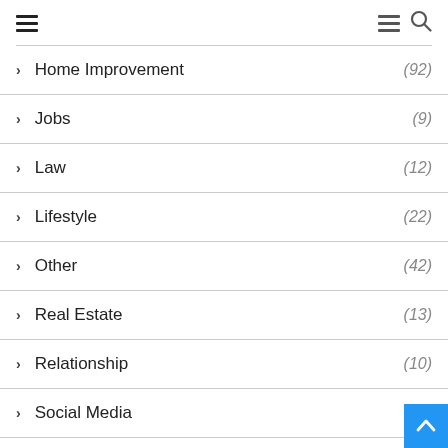Navigation header with hamburger menus and search icon
Home Improvement (92)
Jobs (9)
Law (12)
Lifestyle (22)
Other (42)
Real Estate (13)
Relationship (10)
Social Media (8)
Social Media